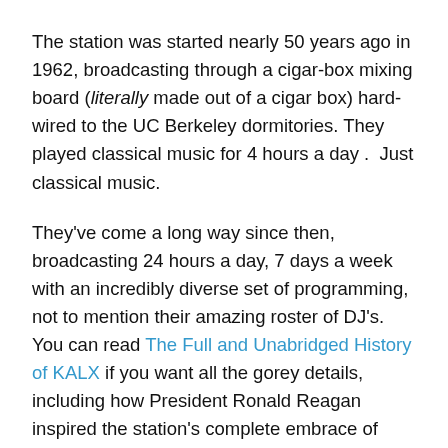The station was started nearly 50 years ago in 1962, broadcasting through a cigar-box mixing board (literally made out of a cigar box) hard-wired to the UC Berkeley dormitories. They played classical music for 4 hours a day .  Just classical music.
They've come a long way since then, broadcasting 24 hours a day, 7 days a week with an incredibly diverse set of programming, not to mention their amazing roster of DJ's. You can read The Full and Unabridged History of KALX if you want all the gorey details, including how President Ronald Reagan inspired the station's complete embrace of punk rock in the 80's.  F&*k yeah!
There's a great quote from 1986 by then General Manager Bill Davis: "What KALX stands for, more than anything else, is freedom. KALX is a statement of art. KALX